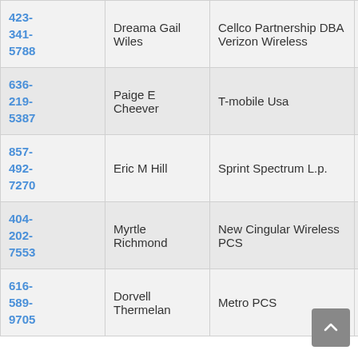| Phone | Name | Carrier | State |
| --- | --- | --- | --- |
| 423-341-5788 | Dreama Gail Wiles | Cellco Partnership DBA Verizon Wireless | CA |
| 636-219-5387 | Paige E Cheever | T-mobile Usa | MO |
| 857-492-7270 | Eric M Hill | Sprint Spectrum L.p. | MA |
| 404-202-7553 | Myrtle Richmond | New Cingular Wireless PCS | GA |
| 616-589-9705 | Dorvell Thermelan | Metro PCS | MI |